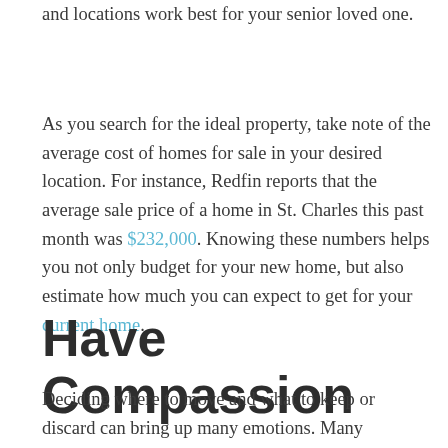and locations work best for your senior loved one.
As you search for the ideal property, take note of the average cost of homes for sale in your desired location. For instance, Redfin reports that the average sale price of a home in St. Charles this past month was $232,000. Knowing these numbers helps you not only budget for your new home, but also estimate how much you can expect to get for your current home.
Have Compassion
Deciding where to move and what to keep or discard can bring up many emotions. Many